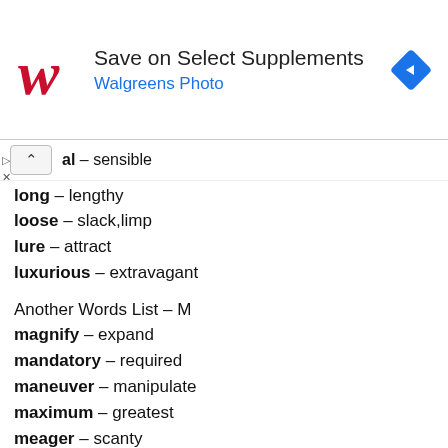[Figure (other): Walgreens ad banner: logo, 'Save on Select Supplements', 'Walgreens Photo', navigation icon]
al – sensible
long – lengthy
loose – slack,limp
lure – attract
luxurious – extravagant
Another Words List – M
magnify – expand
mandatory – required
maneuver – manipulate
maximum – greatest
meager – scanty
mean – unkind